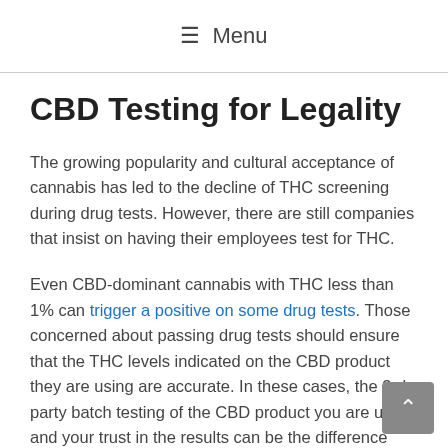≡ Menu
CBD Testing for Legality
The growing popularity and cultural acceptance of cannabis has led to the decline of THC screening during drug tests. However, there are still companies that insist on having their employees test for THC.
Even CBD-dominant cannabis with THC less than 1% can trigger a positive on some drug tests. Those concerned about passing drug tests should ensure that the THC levels indicated on the CBD product they are using are accurate. In these cases, the 3rd party batch testing of the CBD product you are using and your trust in the results can be the difference between you testing positive for a